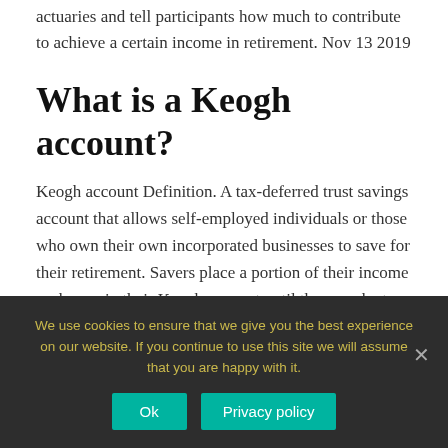actuaries and tell participants how much to contribute to achieve a certain income in retirement. Nov 13 2019
What is a Keogh account?
Keogh account Definition. A tax-deferred trust savings account that allows self-employed individuals or those who own their own incorporated businesses to save for their retirement. Savers place a portion of their income each year in their Keogh account until they reach at least age 59
We use cookies to ensure that we give you the best experience on our website. If you continue to use this site we will assume that you are happy with it.